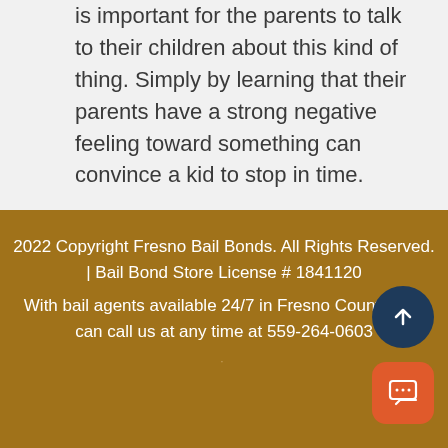is important for the parents to talk to their children about this kind of thing. Simply by learning that their parents have a strong negative feeling toward something can convince a kid to stop in time.
2022 Copyright Fresno Bail Bonds. All Rights Reserved. | Bail Bond Store License # 1841120
With bail agents available 24/7 in Fresno County, you can call us at any time at 559-264-0603